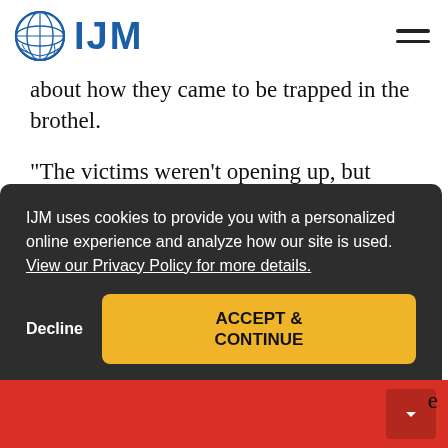IJM
about how they came to be trapped in the brothel.
"The victims weren't opening up, but instead of threatening them, the police literally sat there telling them 'We…'
IJM uses cookies to provide you with a personalized online experience and analyze how our site is used.  View our Privacy Policy for more details.
Decline
ACCEPT & CONTINUE